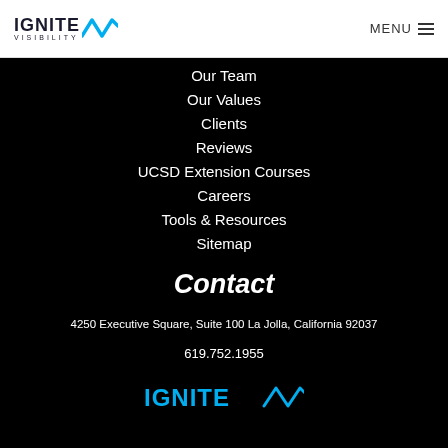Ignite Visibility — MENU
Our Team
Our Values
Clients
Reviews
UCSD Extension Courses
Careers
Tools & Resources
Sitemap
Contact
4250 Executive Square, Suite 100 La Jolla, California 92037
619.752.1955
[Figure (logo): Ignite Visibility logo in cyan/teal color at bottom of page]